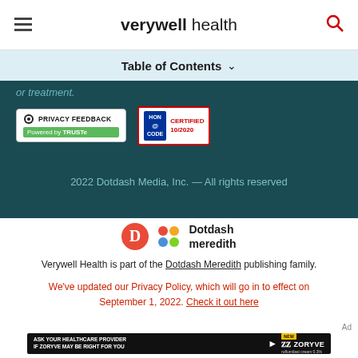verywell health
Table of Contents ˅
or treatment.
[Figure (logo): PRIVACY FEEDBACK Powered by TRUSTe badge]
[Figure (logo): HON CODE CERTIFIED 10/2020 badge]
2022 Dotdash Media, Inc. — All rights reserved
[Figure (logo): Dotdash Meredith logo]
Verywell Health is part of the Dotdash Meredith publishing family.
We've updated our Privacy Policy, which will go in to effect on September 1, 2022. Check it out here
Ad
[Figure (other): Advertisement banner: ASK YOUR HEALTHCARE PROVIDER IF ZORYVE MAY BE RIGHT FOR YOU — ZORYVE roflumilasr cream 0.3%]